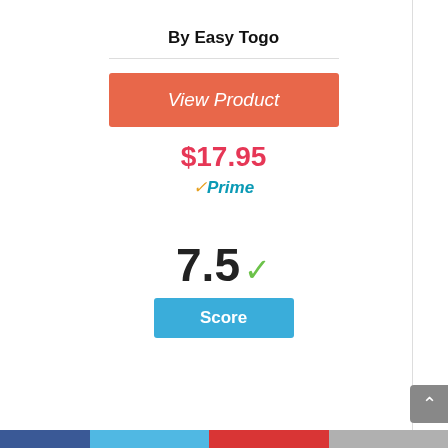By Easy Togo
[Figure (other): Orange/salmon colored 'View Product' button]
$17.95
✓Prime
7.5 ✓ Score